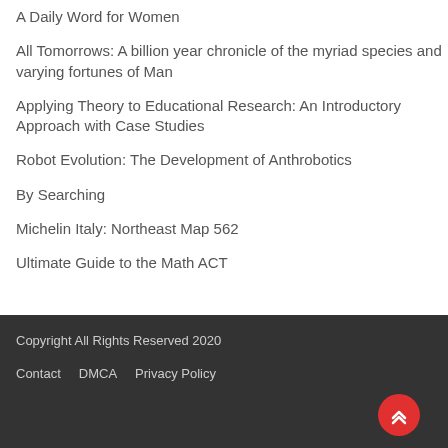A Daily Word for Women
All Tomorrows: A billion year chronicle of the myriad species and varying fortunes of Man
Applying Theory to Educational Research: An Introductory Approach with Case Studies
Robot Evolution: The Development of Anthrobotics
By Searching
Michelin Italy: Northeast Map 562
Ultimate Guide to the Math ACT
Copyright All Rights Reserved 2020
Contact   DMCA   Privacy Policy